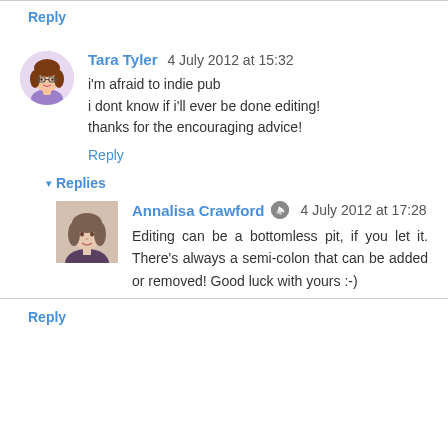Reply
Tara Tyler 4 July 2012 at 15:32
i'm afraid to indie pub
i dont know if i'll ever be done editing!
thanks for the encouraging advice!
Reply
▾ Replies
Annalisa Crawford 4 July 2012 at 17:28
Editing can be a bottomless pit, if you let it. There's always a semi-colon that can be added or removed! Good luck with yours :-)
Reply